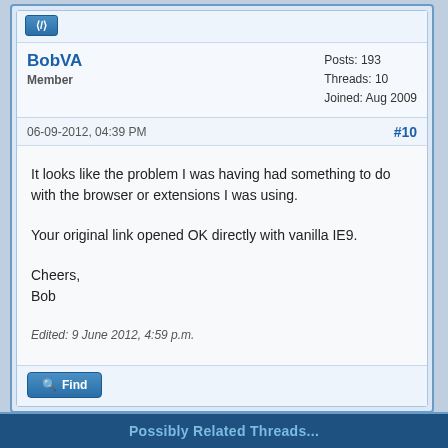BobVA
Member
Posts: 193
Threads: 10
Joined: Aug 2009
06-09-2012, 04:39 PM
#10
It looks like the problem I was having had something to do with the browser or extensions I was using.

Your original link opened OK directly with vanilla IE9.

Cheers,
Bob
Edited: 9 June 2012, 4:59 p.m.
Possibly Related Threads...